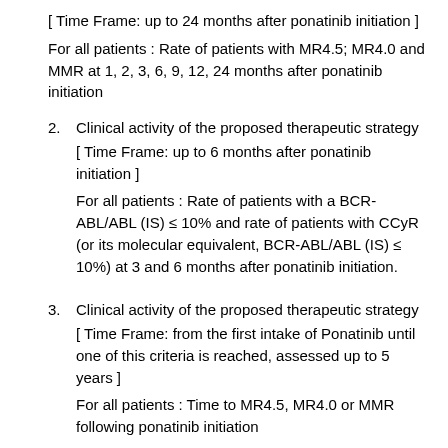[ Time Frame: up to 24 months after ponatinib initiation ]
For all patients : Rate of patients with MR4.5; MR4.0 and MMR at 1, 2, 3, 6, 9, 12, 24 months after ponatinib initiation
2. Clinical activity of the proposed therapeutic strategy [ Time Frame: up to 6 months after ponatinib initiation ]
For all patients : Rate of patients with a BCR-ABL/ABL (IS) ≤ 10% and rate of patients with CCyR (or its molecular equivalent, BCR-ABL/ABL (IS) ≤ 10%) at 3 and 6 months after ponatinib initiation.
3. Clinical activity of the proposed therapeutic strategy [ Time Frame: from the first intake of Ponatinib until one of this criteria is reached, assessed up to 5 years ]
For all patients : Time to MR4.5, MR4.0 or MMR following ponatinib initiation